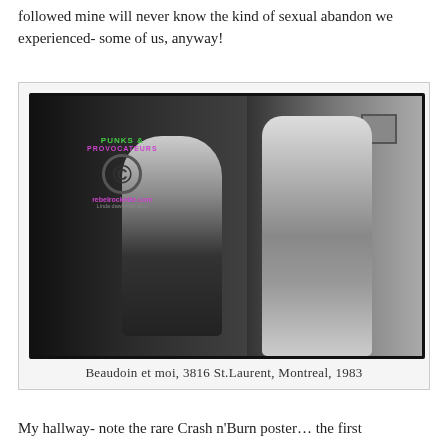followed mine will never know the kind of sexual abandon we experienced- some of us, anyway!
[Figure (photo): Black and white photograph of two people (Beaudoin et moi) in a stairwell at 3816 St.Laurent, Montreal, 1983. One person sits wearing sunglasses, the other stands in a polka dot dress with glasses. A copyright watermark for 'Punks & Provocateurs / rebelrockette.com' is overlaid on the image. A small photo is visible pinned to the wall in the background.]
Beaudoin et moi, 3816 St.Laurent, Montreal, 1983
My hallway- note the rare Crash n'Burn poster… the first